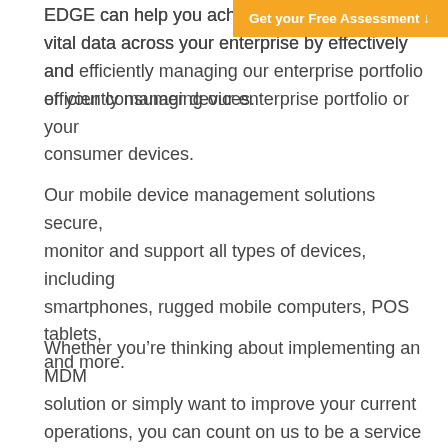[Figure (other): Orange button labeled 'Get your Free Assessment' with a downward arrow, positioned in top-right corner]
EDGE can help you achieve greater control of vital data across your enterprise by effectively and efficiently managing our enterprise portfolio or your consumer devices.
Our mobile device management solutions secure, monitor and support all types of devices, including smartphones, rugged mobile computers, POS tablets, and more.
Whether you're thinking about implementing an MDM solution or simply want to improve your current operations, you can count on us to be a service provider that you can trust. We understand customer pain points and value transparency and innovation.